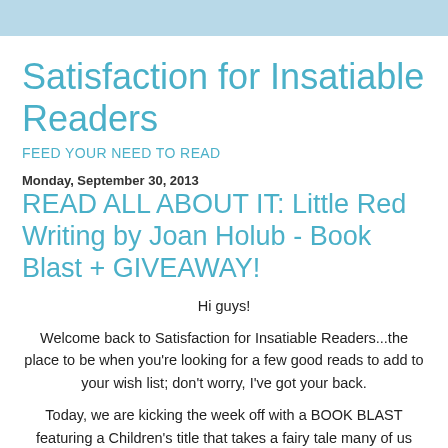Satisfaction for Insatiable Readers
FEED YOUR NEED TO READ
Monday, September 30, 2013
READ ALL ABOUT IT: Little Red Writing by Joan Holub - Book Blast + GIVEAWAY!
Hi guys!
Welcome back to Satisfaction for Insatiable Readers...the place to be when you're looking for a few good reads to add to your wish list; don't worry, I've got your back.

Today, we are kicking the week off with a BOOK BLAST featuring a Children's title that takes a fairy tale many of us know and love and turns it on its ear. TALe about a great way to kick things off!